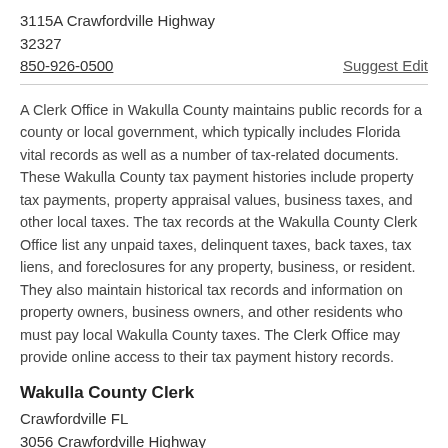3115A Crawfordville Highway
32327
850-926-0500
Suggest Edit
A Clerk Office in Wakulla County maintains public records for a county or local government, which typically includes Florida vital records as well as a number of tax-related documents. These Wakulla County tax payment histories include property tax payments, property appraisal values, business taxes, and other local taxes. The tax records at the Wakulla County Clerk Office list any unpaid taxes, delinquent taxes, back taxes, tax liens, and foreclosures for any property, business, or resident. They also maintain historical tax records and information on property owners, business owners, and other residents who must pay local Wakulla County taxes. The Clerk Office may provide online access to their tax payment history records.
Wakulla County Clerk
Crawfordville FL
3056 Crawfordville Highway
32327